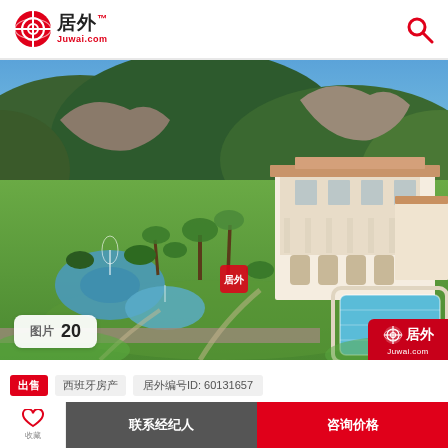居外 Juwai.com
[Figure (photo): Aerial view of a large Mediterranean-style villa with pools, fountains, and lush green landscaped gardens surrounded by forested hills. A Juwai.com watermark is visible on the image.]
图片 20
出售 西班牙房产 居外编号ID: 60131657
联系经纪人 | 咨询价格